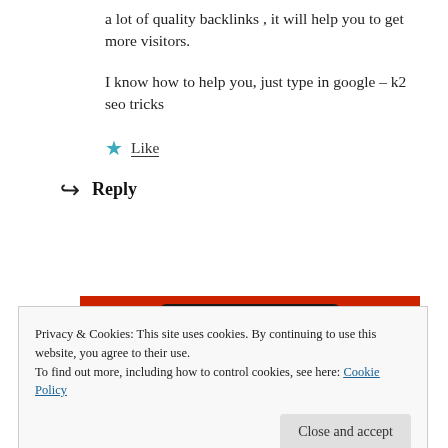a lot of quality backlinks , it will help you to get more visitors.
I know how to help you, just type in google – k2 seo tricks
★ Like
↩ Reply
[Figure (photo): Red phone/device on red background, partially visible]
Privacy & Cookies: This site uses cookies. By continuing to use this website, you agree to their use.
To find out more, including how to control cookies, see here: Cookie Policy
Close and accept